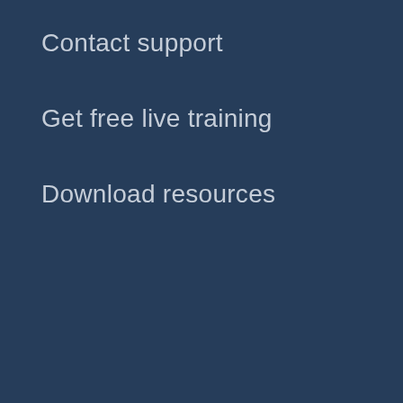Contact support
Get free live training
Download resources